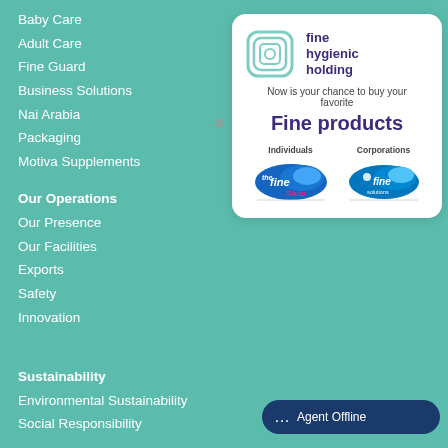Baby Care
Adult Care
Fine Guard
Business Solutions
Nai Arabia
Packaging
Motiva Supplements
Our Operations
Our Presence
Our Facilities
Exports
Safety
Innovation
Sustainability
Environmental Sustainability
Social Responsibility
[Figure (infographic): Fine Hygienic Holding promotional card showing logo, tagline 'Now is your chance to buy your favorite Fine products', and two shopping options: Individuals (The Fine Shop) and Corporations (Fine Solutions)]
Agent Offline